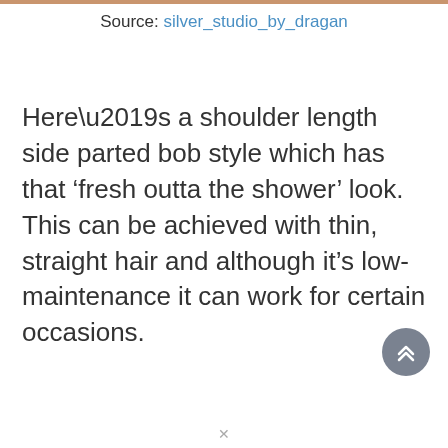Source: silver_studio_by_dragan
Here’s a shoulder length side parted bob style which has that ‘fresh outta the shower’ look. This can be achieved with thin, straight hair and although it’s low-maintenance it can work for certain occasions.